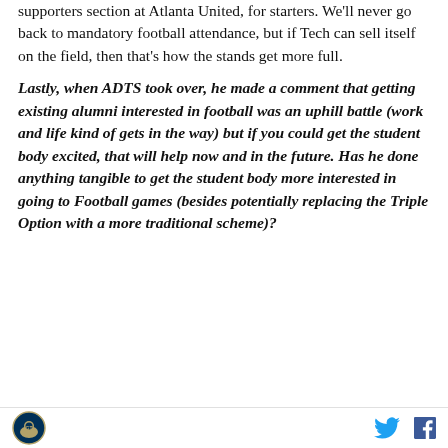supporters section at Atlanta United, for starters. We'll never go back to mandatory football attendance, but if Tech can sell itself on the field, then that's how the stands get more full.
Lastly, when ADTS took over, he made a comment that getting existing alumni interested in football was an uphill battle (work and life kind of gets in the way) but if you could get the student body excited, that will help now and in the future. Has he done anything tangible to get the student body more interested in going to Football games (besides potentially replacing the Triple Option with a more traditional scheme)?